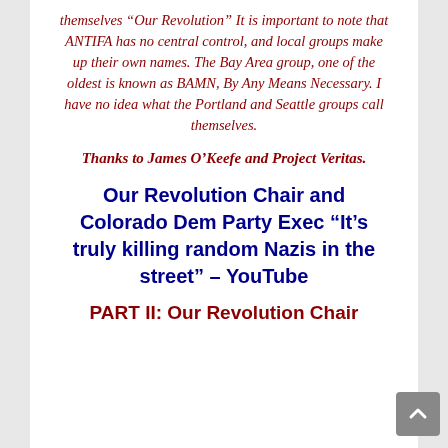themselves “Our Revolution” It is important to note that ANTIFA has no central control, and local groups make up their own names. The Bay Area group, one of the oldest is known as BAMN, By Any Means Necessary. I have no idea what the Portland and Seattle groups call themselves.
Thanks to James O’Keefe and Project Veritas.
Our Revolution Chair and Colorado Dem Party Exec “It’s truly killing random Nazis in the street” – YouTube
PART II: Our Revolution Chair